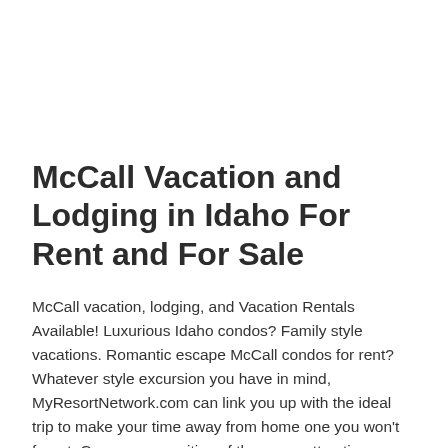McCall Vacation and Lodging in Idaho For Rent and For Sale
McCall vacation, lodging, and Vacation Rentals Available! Luxurious Idaho condos? Family style vacations. Romantic escape McCall condos for rent? Whatever style excursion you have in mind, MyResortNetwork.com can link you up with the ideal trip to make your time away from home one you won't forget. Compare amenities of the many attractive properties to rent. Whether you're searching for great shops and restaurants, natural surrounds or urban entertainment, you'll be able to find the ideal vacation condo or timeshare at a price you can afford. MyResortNetwork.com is designed for vacationers and timeshare owners. We make choosing your rentals fun, and we make listing your condos a breeze. If you're having trouble finding the ideal McCall condo for rent, contact